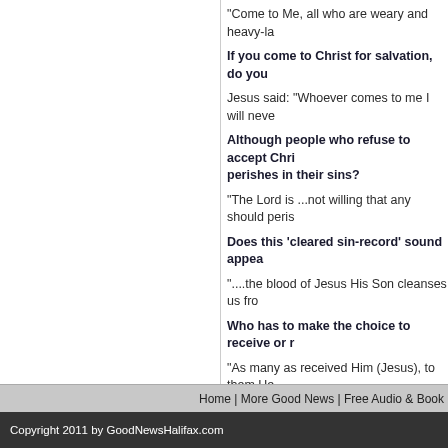"Come to Me, all who are weary and heavy-la
If you come to Christ for salvation, do you
Jesus said: “Whoever comes to me I will neve
Although people who refuse to accept Chri… perishes in their sins?
“The Lord is ...not willing that any should peris
Does this ‘cleared sin-record’ sound appea
“....the blood of Jesus His Son cleanses us fro
Who has to make the choice to receive or r
“As many as received Him (Jesus), to them H… His name...” John 1:12
Are you trying to run from God? How long hav… Him for forgiveness and salvation? Based on t… out to God for salvation right now?
Knowing Christ as your Saviour and having Hi… become a part of God’s family?
Credits:
http://abcnews.go.com/blogs/headlines/2013/0
Home | More Good News | Free Audio & Book
Copyright 2011 by GoodNewsHalifax.com